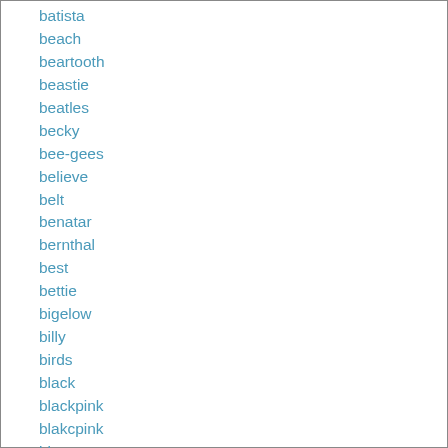batista
beach
beartooth
beastie
beatles
becky
bee-gees
believe
belt
benatar
bernthal
best
bettie
bigelow
billy
birds
black
blackpink
blakcpink
blaze
blondie
blues
blur
bobby